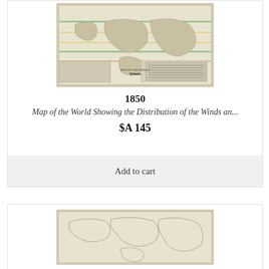[Figure (map): Antique world map showing distribution of winds, circa 1850, beige/cream toned with colored lines indicating wind patterns]
1850
Map of the World Showing the Distribution of the Winds an...
$A 145
Add to cart
[Figure (map): Antique map partial view, cream/beige toned, showing continental outlines with minimal detail]